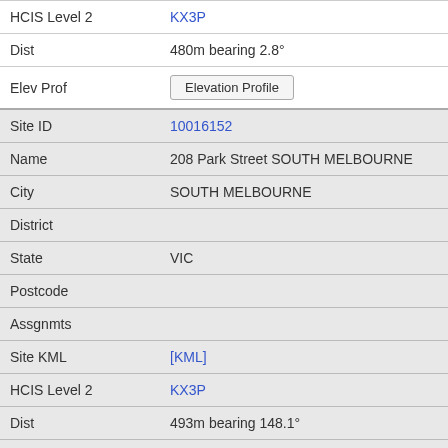| Field | Value |
| --- | --- |
| HCIS Level 2 | KX3P |
| Dist | 480m bearing 2.8° |
| Elev Prof | Elevation Profile |
| Site ID | 10016152 |
| Name | 208 Park Street SOUTH MELBOURNE |
| City | SOUTH MELBOURNE |
| District |  |
| State | VIC |
| Postcode |  |
| Assgnmts |  |
| Site KML | [KML] |
| HCIS Level 2 | KX3P |
| Dist | 493m bearing 148.1° |
| Elev Prof | Elevation Profile |
| Site ID | 9021421 |
| Name | 33 Clarke St SOUTH MELBOURNE |